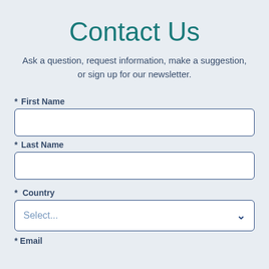Contact Us
Ask a question, request information, make a suggestion, or sign up for our newsletter.
* First Name
* Last Name
*  Country
Select...
* Email